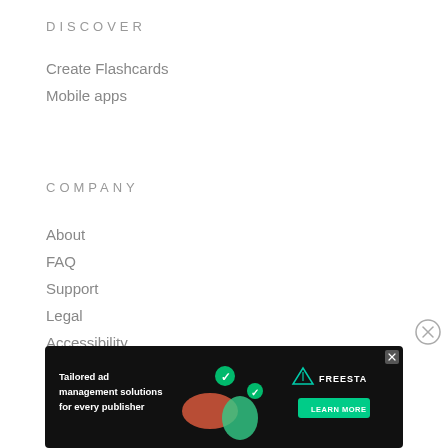DISCOVER
Create Flashcards
Mobile apps
COMPANY
About
FAQ
Support
Legal
Accessibility
[Figure (other): Close (X) button circle icon on the right side]
[Figure (other): Advertisement banner: Tailored ad management solutions for every publisher — FREESTA brand with LEARN MORE button]